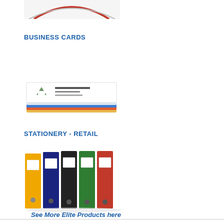[Figure (photo): Partial image of a product, appears to be a curved red/white item, cropped at top]
BUSINESS CARDS
[Figure (photo): Stack of business cards with LiveUp logo visible, fanned out showing colorful edges]
STATIONERY - RETAIL
[Figure (photo): Row of colorful lever arch binders/folders in yellow, dark blue, black, green, and red]
See More Elite Products here